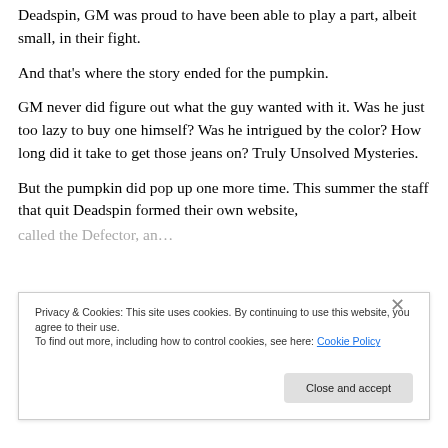Deadspin, GM was proud to have been able to play a part, albeit small, in their fight.
And that's where the story ended for the pumpkin.
GM never did figure out what the guy wanted with it. Was he just too lazy to buy one himself? Was he intrigued by the color? How long did it take to get those jeans on? Truly Unsolved Mysteries.
But the pumpkin did pop up one more time. This summer the staff that quit Deadspin formed their own website,
Privacy & Cookies: This site uses cookies. By continuing to use this website, you agree to their use.
To find out more, including how to control cookies, see here: Cookie Policy